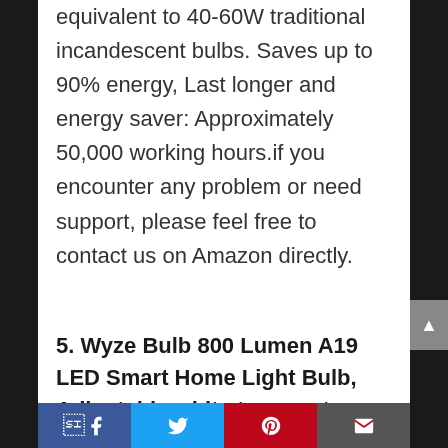A19 shape with 110 Watt, equivalent to 40-60W traditional incandescent bulbs. Saves up to 90% energy, Last longer and energy saver: Approximately 50,000 working hours.if you encounter any problem or need support, please feel free to contact us on Amazon directly.
5. Wyze Bulb 800 Lumen A19 LED Smart Home Light Bulb, Adjustable white temperature and brightness, works with Alexa and the Google Assistant, No Hub Required, 4-Pack